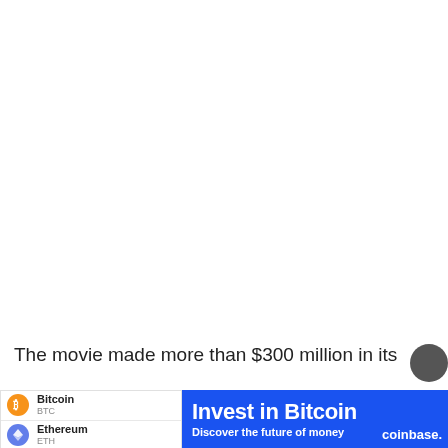[Figure (screenshot): White blank area taking up the top portion of the page, representing a webpage screenshot]
The movie made more than $300 million in its
[Figure (infographic): Coinbase advertisement banner. Left white panel shows Bitcoin (BTC) with orange icon and Ethereum (ETH) with blue icon. Right blue panel reads 'Invest in Bitcoin' and 'Discover the future of money' with coinbase.com logo.]